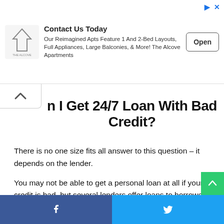[Figure (other): Advertisement banner for The Alcove Apartments with logo, text, and Open button]
Can I Get 24/7 Loan With Bad Credit?
There is no one size fits all answer to this question – it depends on the lender.
You may not be able to get a personal loan at all if your credit is bad, but several lenders offer loans to borrowers with fair or even bad credit. When you apply, lenders will review your credit history and income before deciding whether to approve you. You can check your creditworthiness online for free.
Facebook share | Twitter share